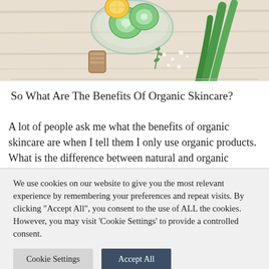[Figure (photo): Top-down photo of organic skincare ingredients on a light wooden surface: a glass bowl with cucumber slices and a slice of lemon/orange, aloe vera leaves, a cork stopper, scattered sea salt crystals, and a small green herb sprig.]
So What Are The Benefits Of Organic Skincare?
A lot of people ask me what the benefits of organic skincare are when I tell them I only use organic products. What is the difference between natural and organic
We use cookies on our website to give you the most relevant experience by remembering your preferences and repeat visits. By clicking "Accept All", you consent to the use of ALL the cookies. However, you may visit 'Cookie Settings' to provide a controlled consent.